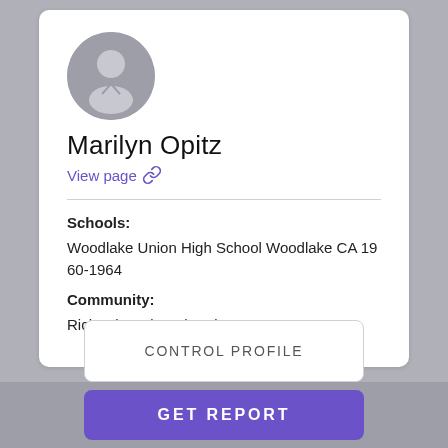[Figure (illustration): Generic user avatar circle with silhouette icon, gray background]
Marilyn Opitz
View page 🔗
Schools:
Woodlake Union High School Woodlake CA 19 60-1964
Community:
Richard Healy, John Alcorn
CONTROL PROFILE
GET REPORT